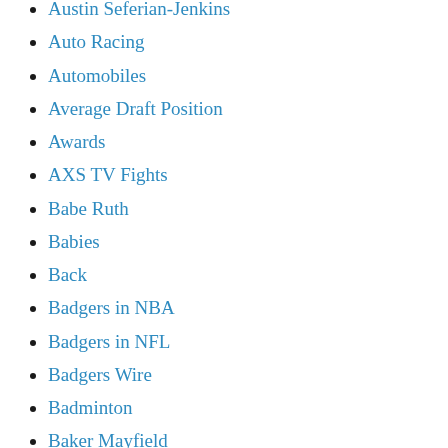Austin Seferian-Jenkins
Auto Racing
Automobiles
Average Draft Position
Awards
AXS TV Fights
Babe Ruth
Babies
Back
Badgers in NBA
Badgers in NFL
Badgers Wire
Badminton
Baker Mayfield
Balance & Stability
Ball State
Balls & Doodleballs